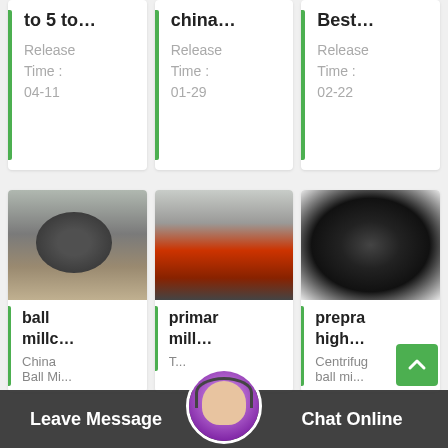to 5 to…
Release Time : 04-11
china…
Release Time : 01-29
Best…
Release Time : 02-22
[Figure (photo): Industrial ball mill machine in a factory, gray cylindrical vessel]
ball millc…
China
Ball Mi...
[Figure (photo): Large red painted primary mill being assembled in a factory]
primar mill…
T…
[Figure (photo): Interior circular view of a centrifugal mill or tunnel, dark metallic]
prepra high…
Centrifug
ball mi...
Leave Message    Chat Online